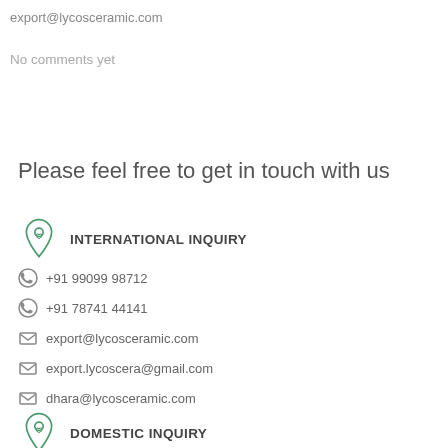export@lycosceramic.com
No comments yet
Please feel free to get in touch with us
INTERNATIONAL INQUIRY
+91 99099 98712
+91 78741 44141
export@lycosceramic.com
export.lycoscera@gmail.com
dhara@lycosceramic.com
DOMESTIC INQUIRY